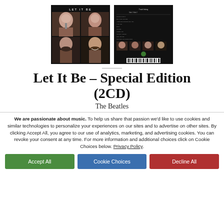[Figure (photo): Front cover of 'Let It Be' Beatles album — black background with four portrait photos of the band members in a 2x2 grid, with 'LET IT BE' text at top]
[Figure (photo): Back cover of 'Let It Be' Beatles album — black background with track listing text, four small portrait photos, Apple Records logo, and barcode]
Let It Be – Special Edition (2CD)
The Beatles
We are passionate about music. To help us share that passion we'd like to use cookies and similar technologies to personalize your experiences on our sites and to advertise on other sites. By clicking Accept All, you agree to our use of analytics, marketing, and advertising cookies. You can revoke your consent at any time. For more information and additional choices click on Cookie Choices below. Privacy Policy.
Accept All
Cookie Choices
Decline All